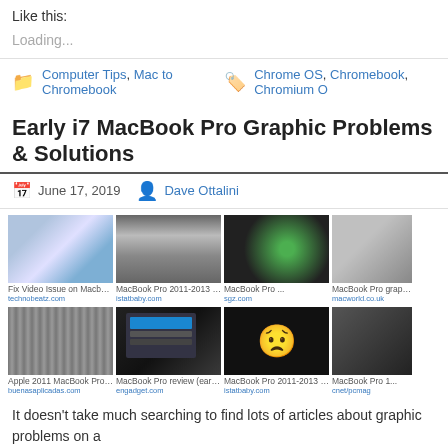Like this:
Loading...
Computer Tips, Mac to Chromebook   Chrome OS, Chromebook, Chromium O
Early i7 MacBook Pro Graphic Problems & Solutions
June 17, 2019   Dave Ottalini
[Figure (photo): Grid of 8 MacBook Pro images showing graphic/video problems and MacBook Pro models. Row 1: Fix Video Issue on Macbook Pro 15 inch (technobeatz.com), MacBook Pro 2011-2013 with Video... (istatbaby.com), MacBook Pro ... (sgz.com), MacBook Pro graphics f... (macworld.co.uk). Row 2: Apple 2011 MacBook Pro repair program... (buenasaplicadas.com), MacBook Pro review (early 2011) (engadget.com), MacBook Pro 2011-2013 with Video... (istatbaby.com), MacBook Pro 1... (cnet/pcmag)]
It doesn’t take much searching to find lots of articles about graphic problems on a
We get questions. Good ones, in fact, about all sorts of Mac problems.